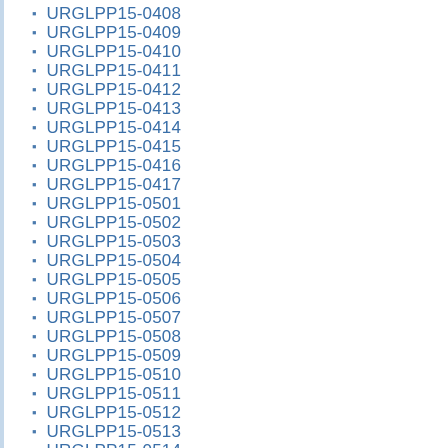URGLPP15-0408
URGLPP15-0409
URGLPP15-0410
URGLPP15-0411
URGLPP15-0412
URGLPP15-0413
URGLPP15-0414
URGLPP15-0415
URGLPP15-0416
URGLPP15-0417
URGLPP15-0501
URGLPP15-0502
URGLPP15-0503
URGLPP15-0504
URGLPP15-0505
URGLPP15-0506
URGLPP15-0507
URGLPP15-0508
URGLPP15-0509
URGLPP15-0510
URGLPP15-0511
URGLPP15-0512
URGLPP15-0513
URGLPP15-0514
URGLPP15-0515
URGLPP15-0516
URGLPP15-0517